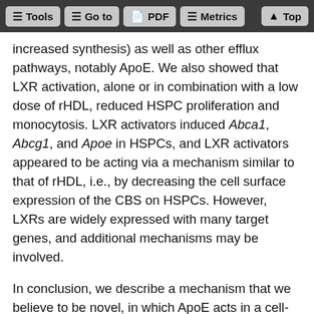Tools | Go to | PDF | Metrics | Top
increased synthesis) as well as other efflux pathways, notably ApoE. We also showed that LXR activation, alone or in combination with a low dose of rHDL, reduced HSPC proliferation and monocytosis. LXR activators induced Abca1, Abcg1, and Apoe in HSPCs, and LXR activators appeared to be acting via a mechanism similar to that of rHDL, i.e., by decreasing the cell surface expression of the CBS on HSPCs. However, LXRs are widely expressed with many target genes, and additional mechanisms may be involved.
In conclusion, we describe a mechanism that we believe to be novel, in which ApoE acts in a cell-intrinsic fashion to regulate HSPC proliferation, monocytosis, and neutrophilia, likely by promoting cholesterol efflux from HSPCs via ABCA1/ABCG1...